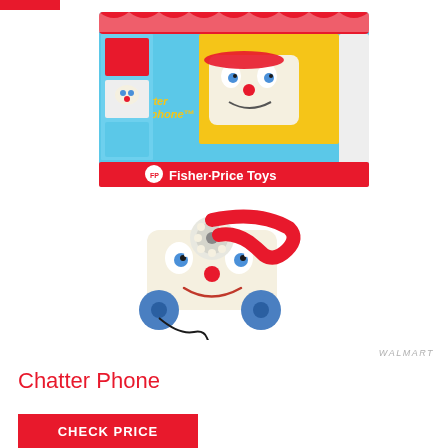[Figure (photo): Fisher-Price Chatter Telephone toy shown in its retail box (blue box with red banner reading 'Fisher-Price Toys' and the Chatter Telephone face visible) and separately below showing the pull-toy telephone with smiley face, rotary dial, red handset, and blue wheels with a pull string.]
WALMART
Chatter Phone
CHECK PRICE